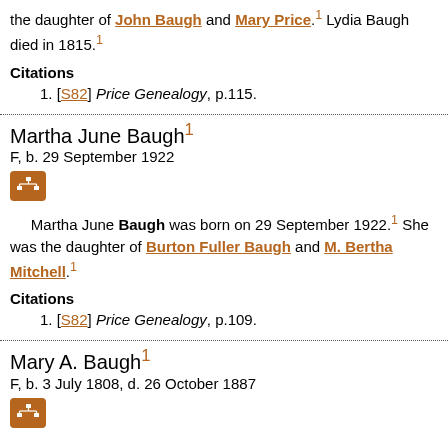the daughter of John Baugh and Mary Price.1 Lydia Baugh died in 1815.1
Citations
1. [S82] Price Genealogy, p.115.
Martha June Baugh1
F, b. 29 September 1922
[Figure (other): Family tree / pedigree icon button (orange square with tree diagram)]
Martha June Baugh was born on 29 September 1922.1 She was the daughter of Burton Fuller Baugh and M. Bertha Mitchell.1
Citations
1. [S82] Price Genealogy, p.109.
Mary A. Baugh1
F, b. 3 July 1808, d. 26 October 1887
[Figure (other): Family tree / pedigree icon button (orange square with tree diagram)]